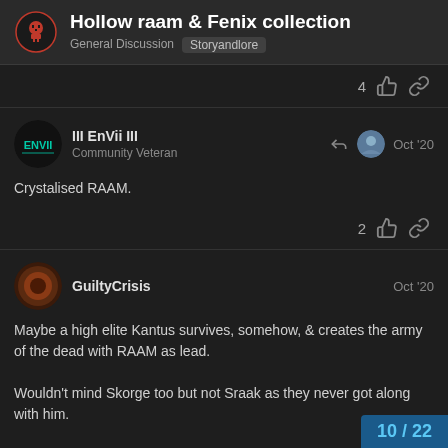Hollow raam & Fenix collection — General Discussion | Storyandlore
4 [likes] [link]
III EnVii III — Community Veteran — Oct '20
Crystalised RAAM.
2 [likes] [link]
GuiltyCrisis — Oct '20
Maybe a high elite Kantus survives, somehow, & creates the army of the dead with RAAM as lead.

Wouldn't mind Skorge too but not Sraak as they never got along with him.
10 / 22